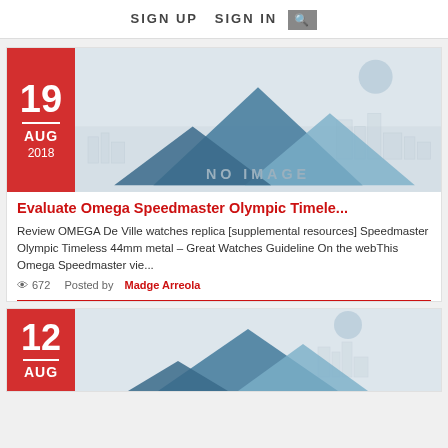SIGN UP   SIGN IN   [search]
[Figure (illustration): No image placeholder with mountain silhouettes and city skyline in blue-grey tones]
Evaluate Omega Speedmaster Olympic Timele...
Review OMEGA De Ville watches replica [supplemental resources] Speedmaster Olympic Timeless 44mm metal – Great Watches Guideline On the webThis Omega Speedmaster vie...
672   Posted by Madge Arreola
[Figure (illustration): No image placeholder with mountain silhouettes and city skyline in blue-grey tones (partial, second card)]